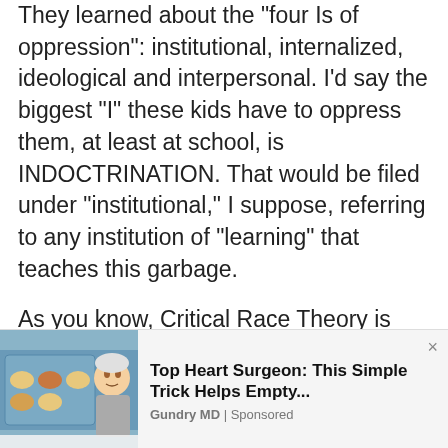They learned about the "four Is of oppression": institutional, internalized, ideological and interpersonal. I'd say the biggest "I" these kids have to oppress them, at least at school, is INDOCTRINATION. That would be filed under "institutional," I suppose, referring to any institution of "learning" that teaches this garbage.
As you know, Critical Race Theory is derived from Critical Theory, which was designed by Marxists as a basis for tearing down an existing society and
[Figure (photo): Advertisement banner showing a photo of a man (doctor/surgeon) with eggs, alongside ad text]
Top Heart Surgeon: This Simple Trick Helps Empty...
Gundry MD | Sponsored